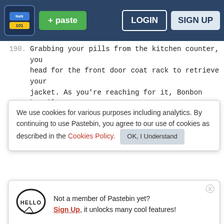Pastebin header with logo, paste button, login and sign up
190. Grabbing your pills from the kitchen counter, you head for the front door coat rack to retrieve your jacket. As you're reaching for it, Bonbon hastily applies a children's bandage to your arm. You spare a glance at the cartoonish piece of latex ad
We use cookies for various purposes including analytics. By continuing to use Pastebin, you agree to our use of cookies as described in the Cookies Policy. OK, I Understand
191.
192. "H
193.
194. "P a
Not a member of Pastebin yet? Sign Up, it unlocks many cool features!
195.
196. "We will," Fred chuckles. "I'm all about fun. In fact, I'm practically the face of family fun."
197.
198. With a sigh, you give the others a parting wave as you follow him outside. You'd be lying if you said